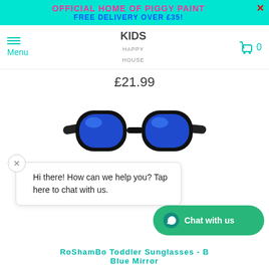OFFICIAL HOME OF PIGGY PAINT
FREE DELIVERY OVER £35!
Menu
KIDS HAPPY HOUSE
0
£21.99
[Figure (photo): Black framed sunglasses with blue mirror lenses for toddlers (RoShamBo brand), viewed from a slight angle]
Hi there! How can we help you? Tap here to chat with us.
RoShamBo Toddler Sunglasses - B Blue Mirror